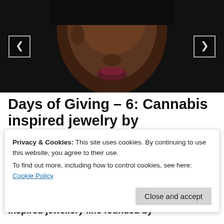[Figure (photo): Close-up photo of a woman wearing cannabis leaf-shaped earrings, dark background, navigation arrows on left and right sides]
Days of Giving – 6: Cannabis inspired jewelry by JADAxDANA
Privacy & Cookies: This site uses cookies. By continuing to use this website, you agree to their use.
To find out more, including how to control cookies, see here: Cookie Policy
inspired jewellery line founded by